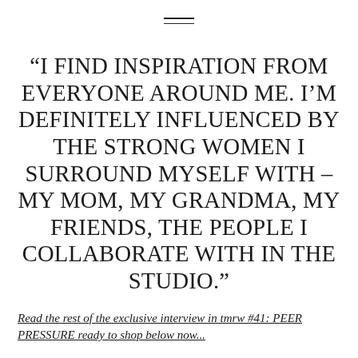“I FIND INSPIRATION FROM EVERYONE AROUND ME. I’M DEFINITELY INFLUENCED BY THE STRONG WOMEN I SURROUND MYSELF WITH – MY MOM, MY GRANDMA, MY FRIENDS, THE PEOPLE I COLLABORATE WITH IN THE STUDIO.”
Read the rest of the exclusive interview in tmrw #41: PEER PRESSURE ready to shop below now...